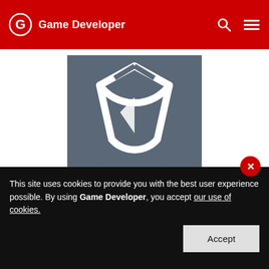Game Developer
[Figure (logo): Digital Extremes company logo — stylized grey circular/shield emblem with white lines on dark grey background]
Digital Extremes
LONDON, ONTARIO, CANADA
This site uses cookies to provide you with the best user experience possible. By using Game Developer, you accept our use of cookies.